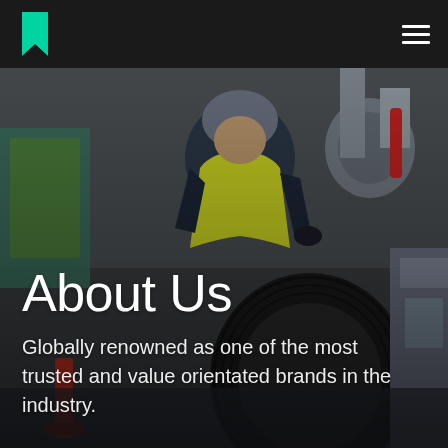About Us — company website header with logo and navigation menu
[Figure (photo): A worker in a high-visibility yellow vest and grey beanie hat working on heavy machinery, likely an aircraft landing gear or industrial equipment, in an industrial facility. Large black tire visible in foreground.]
About Us
Globally renowned as one of the most trusted and value orientated brands in the industry.